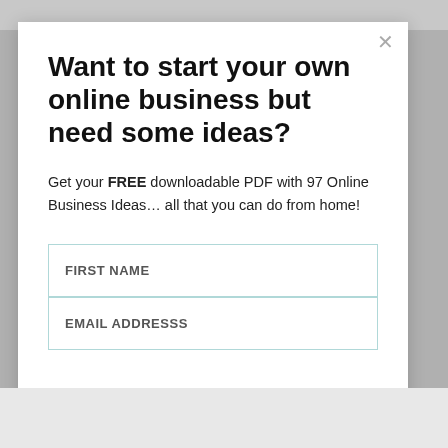[Figure (photo): Grayscale photo strip visible at the top of the page behind the modal overlay]
Want to start your own online business but need some ideas?
Get your FREE downloadable PDF with 97 Online Business Ideas… all that you can do from home!
FIRST NAME
EMAIL ADDRESSS